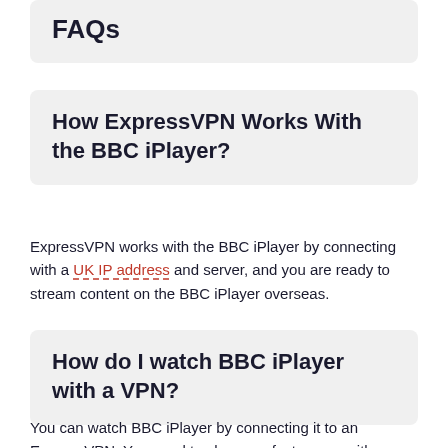FAQs
How ExpressVPN Works With the BBC iPlayer?
ExpressVPN works with the BBC iPlayer by connecting with a UK IP address and server, and you are ready to stream content on the BBC iPlayer overseas.
How do I watch BBC iPlayer with a VPN?
You can watch BBC iPlayer by connecting it to an ExpressVPN. You need to choose a fast server with...